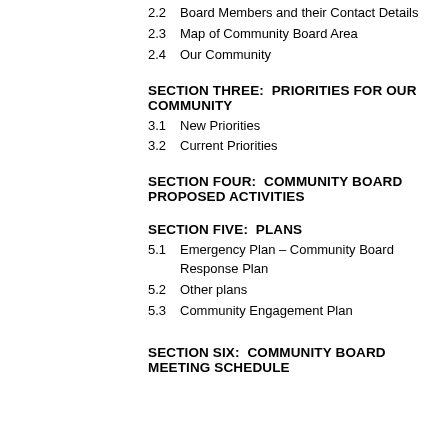2.2   Board Members and their Contact Details
2.3   Map of Community Board Area
2.4   Our Community
SECTION THREE:  PRIORITIES FOR OUR COMMUNITY
3.1   New Priorities
3.2   Current Priorities
SECTION FOUR:  COMMUNITY BOARD PROPOSED ACTIVITIES
SECTION FIVE:  PLANS
5.1   Emergency Plan – Community Board Response Plan
5.2   Other plans
5.3   Community Engagement Plan
SECTION SIX:  COMMUNITY BOARD MEETING SCHEDULE